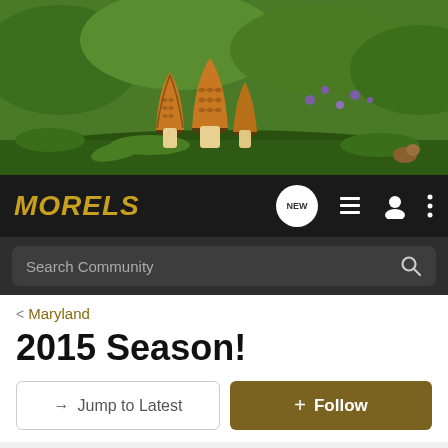[Figure (photo): Header photo of morel mushrooms growing in green forest undergrowth with purple wildflowers]
MORELS — navigation bar with NEW chat icon, list icon, user icon, and more options icon
Search Community
< Maryland
2015 Season!
→ Jump to Latest
+ Follow
1 - 20 of 53 Posts
1 of 3
hensleyffej · Registered